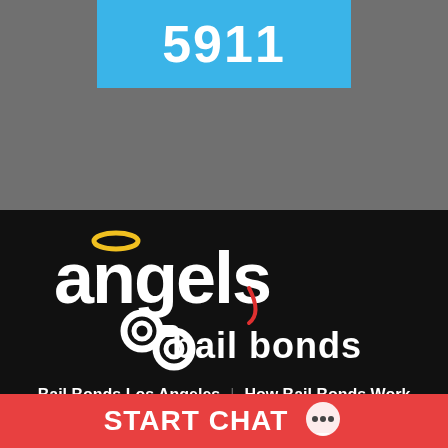5911
[Figure (logo): Angels Bail Bonds logo: white text 'angels' with yellow halo above the 'a', red tail on 'e', with handcuff icon and 'bail bonds' text below]
Bail Bonds Los Angeles
How Bail Bonds Work
About Us
Locations
Contact Us
START CHAT